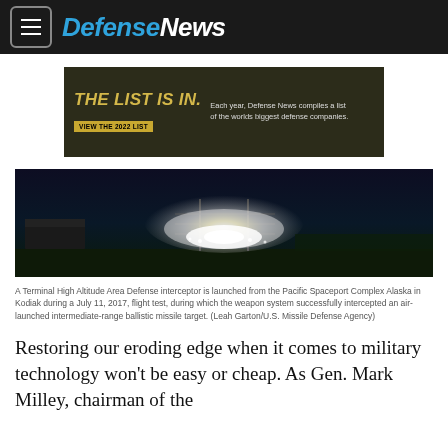DefenseNews
[Figure (infographic): Defense News advertisement banner: 'THE LIST IS IN. Each year, Defense News compiles a list of the worlds biggest defense companies. VIEW THE 2022 LIST']
[Figure (photo): A Terminal High Altitude Area Defense interceptor is launched from the Pacific Spaceport Complex Alaska in Kodiak during a July 11, 2017, flight test, showing explosion at night]
A Terminal High Altitude Area Defense interceptor is launched from the Pacific Spaceport Complex Alaska in Kodiak during a July 11, 2017, flight test, during which the weapon system successfully intercepted an air-launched intermediate-range ballistic missile target. (Leah Garton/U.S. Missile Defense Agency)
Restoring our eroding edge when it comes to military technology won't be easy or cheap. As Gen. Mark Milley, chairman of the